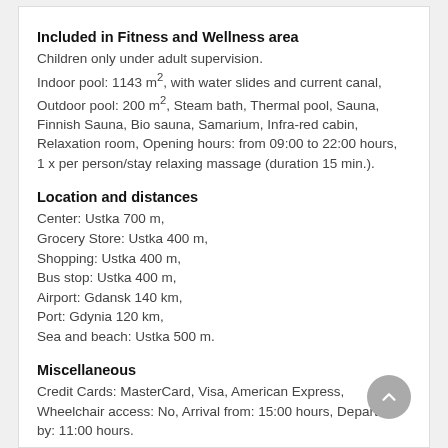Included in Fitness and Wellness area
Children only under adult supervision. Indoor pool: 1143 m², with water slides and current canal, Outdoor pool: 200 m², Steam bath, Thermal pool, Sauna, Finnish Sauna, Bio sauna, Samarium, Infra-red cabin, Relaxation room, Opening hours: from 09:00 to 22:00 hours, 1 x per person/stay relaxing massage (duration 15 min.).
Location and distances
Center: Ustka 700 m,
Grocery Store: Ustka 400 m,
Shopping: Ustka 400 m,
Bus stop: Ustka 400 m,
Airport: Gdansk 140 km,
Port: Gdynia 120 km,
Sea and beach: Ustka 500 m.
Miscellaneous
Credit Cards: MasterCard, Visa, American Express, Wheelchair access: No, Arrival from: 15:00 hours, Departure by: 11:00 hours.